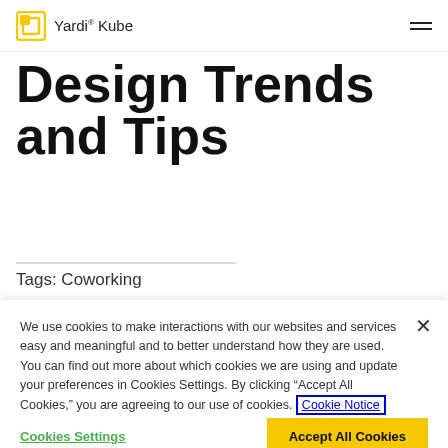Yardi Kube
Design Trends and Tips
Tags: Coworking
We use cookies to make interactions with our websites and services easy and meaningful and to better understand how they are used. You can find out more about which cookies we are using and update your preferences in Cookies Settings. By clicking “Accept All Cookies,” you are agreeing to our use of cookies. Cookie Notice
Cookies Settings
Accept All Cookies